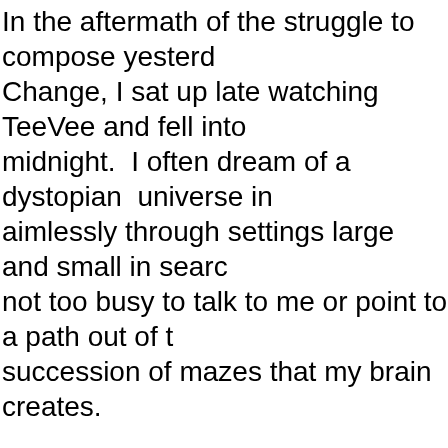In the aftermath of the struggle to compose yesterday's Change, I sat up late watching TeeVee and fell into midnight.  I often dream of a dystopian  universe in aimlessly through settings large and small in search not too busy to talk to me or point to a path out of the succession of mazes that my brain creates.
Last night was different.  The world of last night's dream purpose driven quest for purity of purpose and rejection Supremacy as the heritage of humanity.  In that world had been outlawed as well eating the meat of murdered President Alexandria Ocasio-Cortes had led the way movement for choosing sterilization as a way of life road to redemption for past human crimes.  The population shrinking steadily especially among Whites who generally acknowledged that they and their kind had nearly destroyed inner being and soul.  The Electoral College was brought a country now ruled by the Ecological Salvation Party.
Far from being ignored I found in the dream that I had committed Eco-Holocaust Denial, a statutory crime that protected...